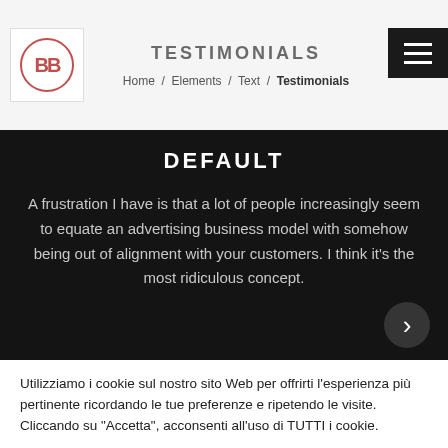TESTIMONIALS
Home / Elements / Text / Testimonials
DEFAULT
A frustration I have is that a lot of people increasingly seem to equate an advertising business model with somehow being out of alignment with your customers. I think it's the most ridiculous concept.
Utilizziamo i cookie sul nostro sito Web per offrirti l'esperienza più pertinente ricordando le tue preferenze e ripetendo le visite. Cliccando su "Accetta", acconsenti all'uso di TUTTI i cookie.
Impostazioni   ACCETTO